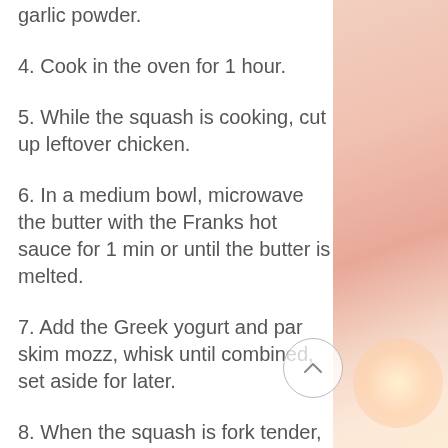garlic powder.
4. Cook in the oven for 1 hour.
5. While the squash is cooking, cut up leftover chicken.
6. In a medium bowl, microwave the butter with the Franks hot sauce for 1 min or until the butter is melted.
7. Add the Greek yogurt and par skim mozz, whisk until combined, set aside for later.
8. When the squash is fork tender, using two forks, scrape the insides into “spaghetti” in a large bowl.